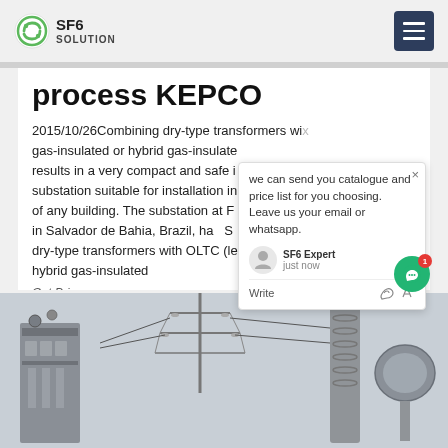SF6 SOLUTION
process KEPCO
2015/10/26Combining dry-type transformers with gas-insulated or hybrid gas-insulated results in a very compact and safe installation substation suitable for installation in the basement of any building. The substation at Fonte Nova arena in Salvador de Bahia, Brazil, has SF6 dry-type transformers with OLTC (le... a hybrid gas-insulated
Get Price
[Figure (photo): Industrial electrical substation equipment including transformers, towers, and gas-insulated switchgear components]